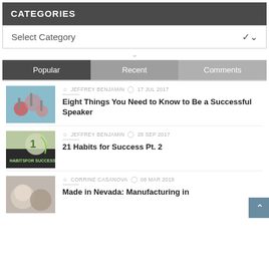CATEGORIES
Select Category
[Figure (screenshot): Tab navigation with Popular, Recent, Comments options]
[Figure (photo): Thumbnail image for speakers article]
JEFFREY BENJAMIN  17 JUL 2017
Eight Things You Need to Know to Be a Successful Speaker
[Figure (photo): Thumbnail image for 21 Habits for Success article]
JEFFREY BENJAMIN  28 SEP 2017
21 Habits for Success Pt. 2
[Figure (photo): Thumbnail image for Made in Nevada article]
CORRINE CASANOVA  08 MAR 2018
Made in Nevada: Manufacturing in